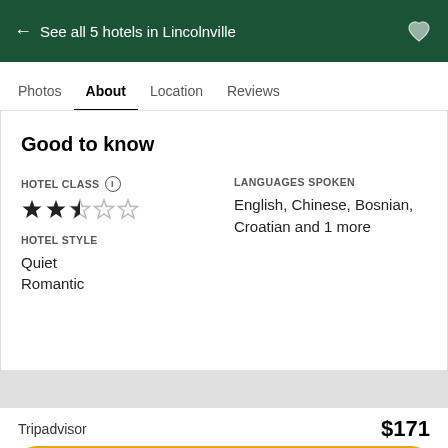← See all 5 hotels in Lincolnville
About
Good to know
HOTEL CLASS ⓘ
★★☆☆☆
HOTEL STYLE
Quiet
Romantic
LANGUAGES SPOKEN
English, Chinese, Bosnian, Croatian and 1 more
Tripadvisor
$171
View deal